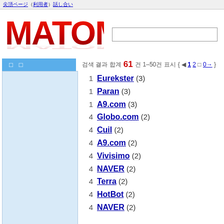[Korean text navigation links]
[Figure (logo): MATOMEX logo in large red 3D-style text with reflection effect]
Korean navigation tabs
Korean search results count: 61 results, showing 1-50 { 1 2 다음→ }
1  Eurekster (3)
1  Paran (3)
1  A9.com (3)
4  Globo.com (2)
4  Cuil (2)
4  A9.com (2)
4  Vivisimo (2)
4  NAVER (2)
4  Terra (2)
4  HotBot (2)
4  NAVER (2)